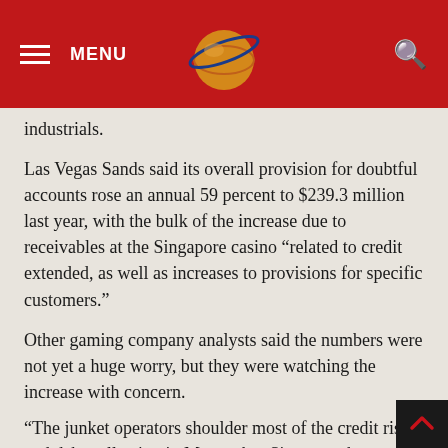MENU [logo] [search]
industrials.
Las Vegas Sands said its overall provision for doubtful accounts rose an annual 59 percent to $239.3 million last year, with the bulk of the increase due to receivables at the Singapore casino “related to credit extended, as well as increases to provisions for specific customers.”
Other gaming company analysts said the numbers were not yet a huge worry, but they were watching the increase with concern.
“The junket operators shoulder most of the credit risk and debt collection in Macau, but Singapore has a structural disadvantage of not having the junket network and